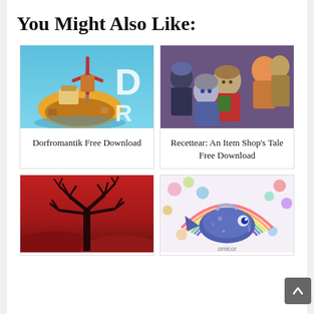You Might Also Like:
[Figure (photo): Dorfromantik game cover showing a windmill on a floating island with colorful low-poly art style]
Dorfromantik Free Download
[Figure (photo): Recettear: An Item Shop's Tale game cover showing anime-style characters grouped together]
Recettear: An Item Shop's Tale Free Download
[Figure (photo): Game cover with a bare tree silhouette against a red background]
[Figure (photo): Game cover with colorful cartoon fish and rainbow illustration]